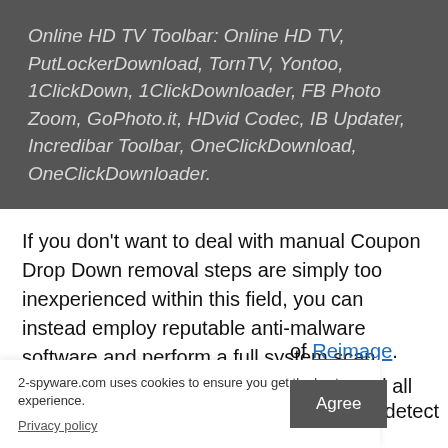Online HD TV Toolbar: Online HD TV, PutLockerDownload, TornTV, Yontoo, 1ClickDown, 1ClickDownloader, FB Photo Zoom, GoPhoto.it, HDvid Codec, IB Updater, Incredibar Toolbar, OneClickDownload, OneClickDownloader.
If you don't want to deal with manual Coupon Drop Down removal steps are simply too inexperienced within this field, you can instead employ reputable anti-malware software and perform a full system scan. Security applications are designed to find all the malicious components on the system
2-spyware.com uses cookies to ensure you get the best experience.
Privacy policy
of Reimage.
hended to detect